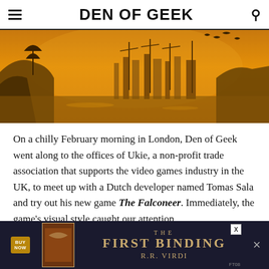DEN OF GEEK
[Figure (illustration): Fantasy game screenshot showing an orange/amber-toned aerial view of a harbour or coastal city with ships, buildings and structures in a warm golden haze. Birds or creatures visible in the sky.]
On a chilly February morning in London, Den of Geek went along to the offices of Ukie, a non-profit trade association that supports the video games industry in the UK, to meet up with a Dutch developer named Tomas Sala and try out his new game The Falconeer. Immediately, the game’s visual style caught our attention.
Set in an oceanic open-world called The Great Ursee, The Falconeer is a fantasy RPG that offers epic airborne
[Figure (advertisement): Advertisement banner for 'The First Binding' by R.R. Virdi. Dark navy background with gold text. Includes a Buy Now button and a dismiss (X) button.]